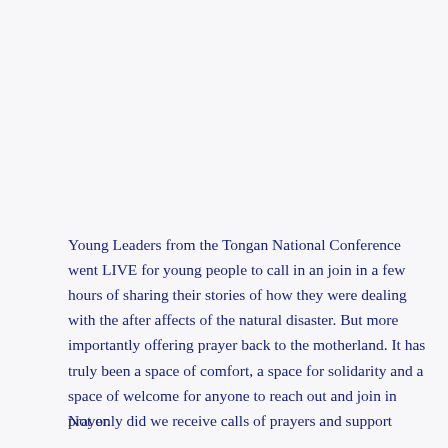Young Leaders from the Tongan National Conference went LIVE for young people to call in an join in a few hours of sharing their stories of how they were dealing with the after affects of the natural disaster. But more importantly offering prayer back to the motherland. It has truly been a space of comfort, a space for solidarity and a space of welcome for anyone to reach out and join in prayer.
Not only did we receive calls of prayers and support